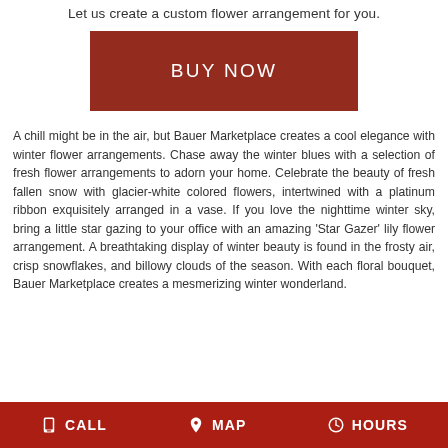Let us create a custom flower arrangement for you.
[Figure (other): Dark red BUY NOW button]
A chill might be in the air, but Bauer Marketplace creates a cool elegance with winter flower arrangements. Chase away the winter blues with a selection of fresh flower arrangements to adorn your home. Celebrate the beauty of fresh fallen snow with glacier-white colored flowers, intertwined with a platinum ribbon exquisitely arranged in a vase. If you love the nighttime winter sky, bring a little star gazing to your office with an amazing 'Star Gazer' lily flower arrangement. A breathtaking display of winter beauty is found in the frosty air, crisp snowflakes, and billowy clouds of the season. With each floral bouquet, Bauer Marketplace creates a mesmerizing winter wonderland.
CALL   MAP   HOURS